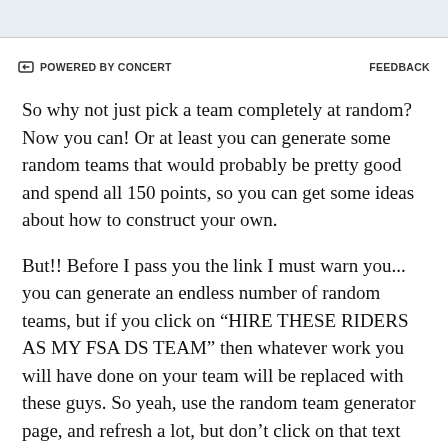POWERED BY CONCERT   FEEDBACK
So why not just pick a team completely at random? Now you can! Or at least you can generate some random teams that would probably be pretty good and spend all 150 points, so you can get some ideas about how to construct your own.
But!! Before I pass you the link I must warn you... you can generate an endless number of random teams, but if you click on “HIRE THESE RIDERS AS MY FSA DS TEAM” then whatever work you will have done on your team will be replaced with these guys. So yeah, use the random team generator page, and refresh a lot, but don’t click on that text unless you mean it.